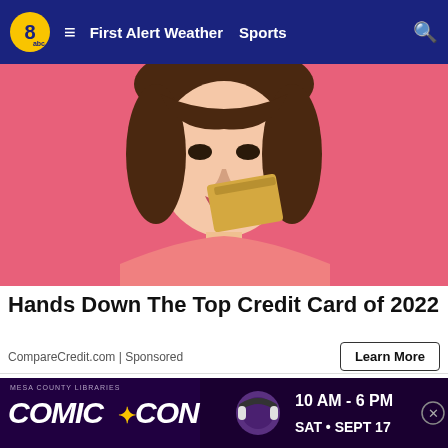8abc  ≡  First Alert Weather  Sports  🔍
[Figure (photo): Young woman with brown hair against a pink background, holding a gold credit card near her face, smiling]
Hands Down The Top Credit Card of 2022
CompareCredit.com | Sponsored
[Figure (photo): Person reaching into an orange bag or container outdoors, with green foliage in the background]
[Figure (infographic): Mesa County Libraries Comic Con advertisement banner: 10 AM - 6 PM, SAT • SEPT 17]